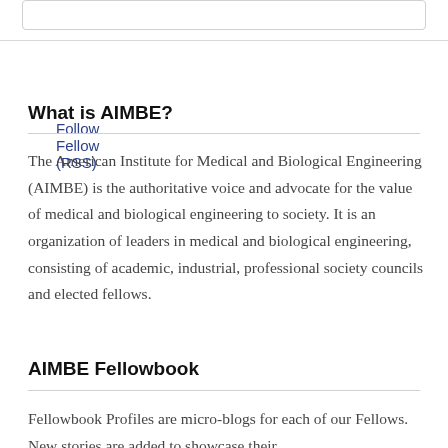Follow Fellow (RSS)
What is AIMBE?
The American Institute for Medical and Biological Engineering (AIMBE) is the authoritative voice and advocate for the value of medical and biological engineering to society. It is an organization of leaders in medical and biological engineering, consisting of academic, industrial, professional society councils and elected fellows.
AIMBE Fellowbook
Fellowbook Profiles are micro-blogs for each of our Fellows. New stories are added to showcase their